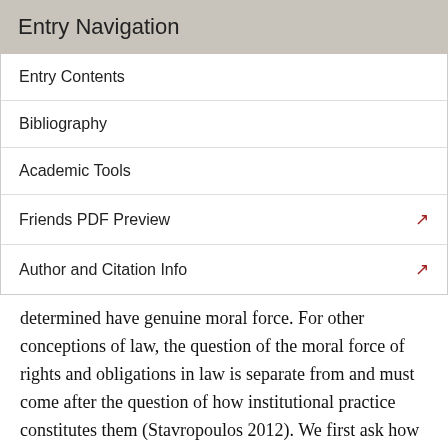Entry Navigation
Entry Contents
Bibliography
Academic Tools
Friends PDF Preview
Author and Citation Info
determined have genuine moral force. For other conceptions of law, the question of the moral force of rights and obligations in law is separate from and must come after the question of how institutional practice constitutes them (Stavropoulos 2012). We first ask how the practice determines rights and obligations, which is a conceptual or otherwise nonmoral question that aims to identify the legally relevant aspects of institutional practice. Since our investigation is nonmoral, these must be understood as the factors that determine the content of legal rights and obligations, though not their force. We